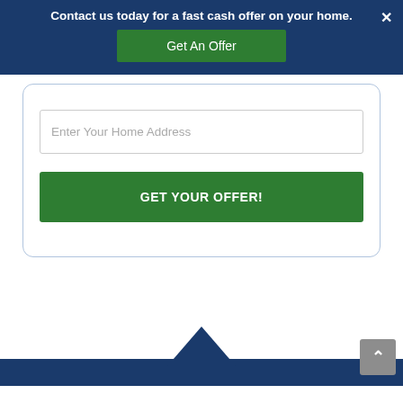Contact us today for a fast cash offer on your home.
Get An Offer
Enter Your Home Address
GET YOUR OFFER!